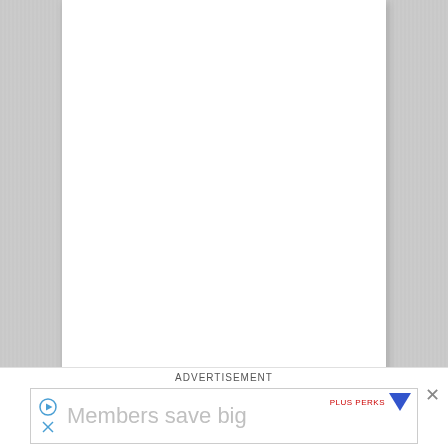[Figure (other): A mostly blank white document page with gray textured background on the sides, representing an empty document viewer page.]
ADVERTISEMENT
[Figure (other): Advertisement bar at the bottom showing a play button icon, a close X icon, text 'Members save big', a red brand text with a blue downward arrow logo, and a close X button on the far right.]